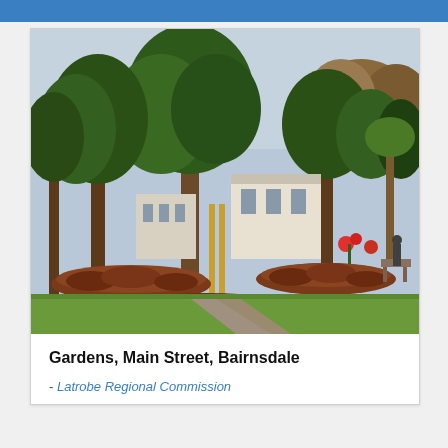[Figure (photo): A park with large green trees, manicured garden beds with reddish-brown plants, green grass lawns, and a white building visible in the background. Taken on a sunny day in Bairnsdale, Australia.]
Gardens, Main Street, Bairnsdale
- Latrobe Regional Commission